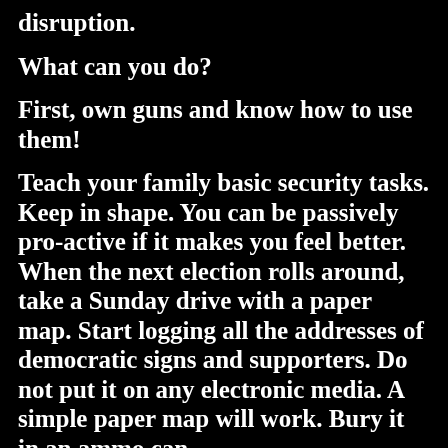disruption.
What can you do?
First, own guns and know how to use them!
Teach your family basic security tasks. Keep in shape. You can be passively pro-active if it makes you feel better. When the next election rolls around, take a Sunday drive with a paper map. Start logging all the addresses of democratic signs and supporters. Do not put it on any electronic media. A simple paper map will work. Bury it in an ammo can,
Turn away or hide it for safe keeping. If